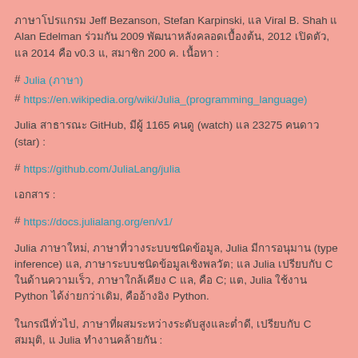ภาษาโปรแกรม Jeff Bezanson, Stefan Karpinski, แล Viral B. Shah แ Alan Edelman ร่วมกัน 2009 พัฒนาหลังคลอดเบื้องต้น, 2012 เปิดตัว, แล 2014 คือ v0.3 แ, สมาชิก 200 ค. เนื้อหา :
# Julia (ภาษา)
# https://en.wikipedia.org/wiki/Julia_(programming_language)
Julia สาธารณะ GitHub, มีผู้ 1165 คนดู (watch) แล 23275 คนดาว (star) :
# https://github.com/JuliaLang/julia
เอกสาร :
# https://docs.julialang.org/en/v1/
Julia ภาษาใหม่, ภาษาที่วางระบบชนิดข้อมูล, Julia มีการอนุมาน (type inference) แล, ภาษาระบบชนิดข้อมูลเชิงพลวัต; แล Julia เปรียบกับ C ในด้านความเร็ว, ภาษาใกล้เคียง C แล, คือ C; แต, Julia ใช้งาน Python ได้ง่ายกว่าเดิม, คืออ้างอิง Python.
ในกรณีทั่วไป, ภาษาที่ผสมระหว่างระดับสูงและต่ำดี, เปรียบกับ C สมมุติ, แ Julia ทำงานคล้ายกัน :